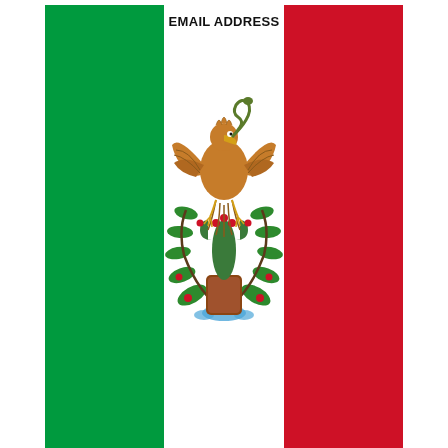[Figure (illustration): Mexican flag with green, white, and red vertical stripes. The white center stripe contains the Mexican coat of arms (eagle on cactus holding a snake, with wreath). Text 'EMAIL ADDRESS' appears at the top center in bold black, and 'FREE EMAIL ADDRESS' appears at the bottom center in bold black.]